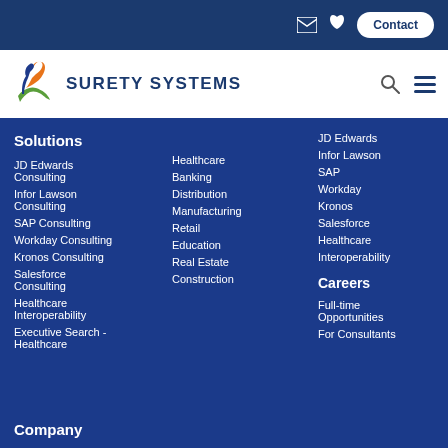Contact
[Figure (logo): Surety Systems logo with stylized figure and SURETY SYSTEMS text]
Solutions
JD Edwards Consulting
Infor Lawson Consulting
SAP Consulting
Workday Consulting
Kronos Consulting
Salesforce Consulting
Healthcare Interoperability
Executive Search - Healthcare
Healthcare
Banking
Distribution
Manufacturing
Retail
Education
Real Estate
Construction
JD Edwards
Infor Lawson
SAP
Workday
Kronos
Salesforce
Healthcare
Interoperability
Careers
Full-time Opportunities
For Consultants
Company